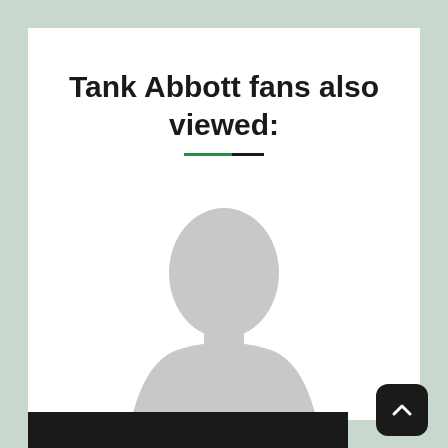Tank Abbott fans also viewed:
[Figure (illustration): Generic silhouette placeholder image of a person (head and shoulders, gray on white background)]